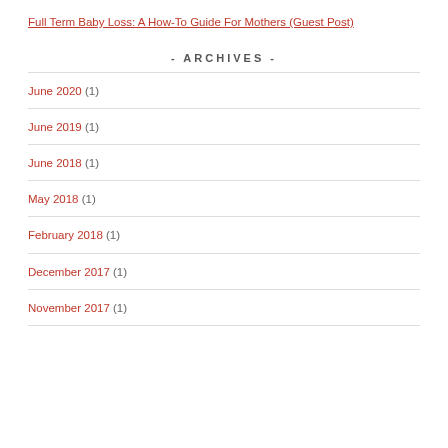Full Term Baby Loss: A How-To Guide For Mothers (Guest Post)
- ARCHIVES -
June 2020 (1)
June 2019 (1)
June 2018 (1)
May 2018 (1)
February 2018 (1)
December 2017 (1)
November 2017 (1)